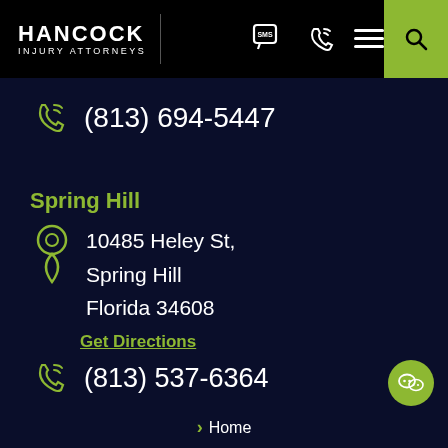[Figure (logo): Hancock Injury Attorneys logo with navigation icons (SMS, phone, hamburger menu) and green search button]
(813) 694-5447
Spring Hill
10485 Heley St, Spring Hill Florida 34608
Get Directions
(813) 537-6364
Home